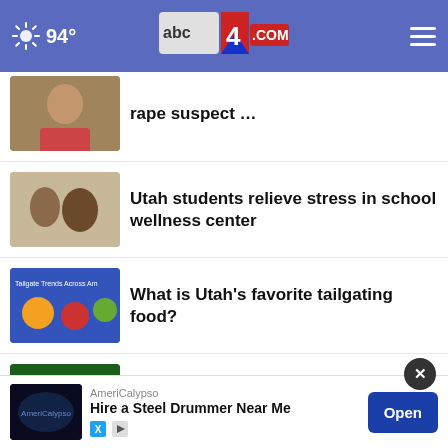94° abc4.com
rape suspect …
Utah students relieve stress in school wellness center
What is Utah's favorite tailgating food?
Health officials confirm Utah's first West Nile virus …
Night flying returns to Hill this month
Man shares story after losing th
[Figure (screenshot): AmeriCalypso advertisement - Hire a Steel Drummer Near Me with Open button]